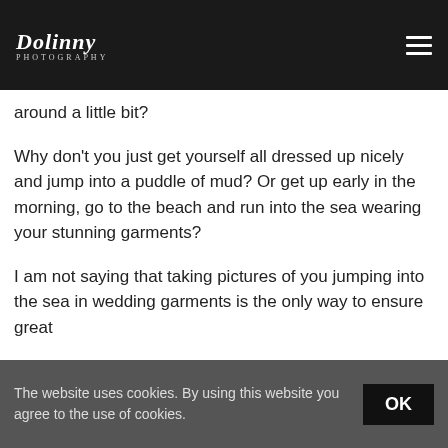Dolinny Photography
abuts telling a story. A good photographer will leave you a feeling of... to tell your own. So, why not turn the things around a little bit?
Why don't you just get yourself all dressed up nicely and jump into a puddle of mud? Or get up early in the morning, go to the beach and run into the sea wearing your stunning garments?
I am not saying that taking pictures of you jumping into the sea in wedding garments is the only way to ensure great
The website uses cookies. By using this website you agree to the use of cookies.